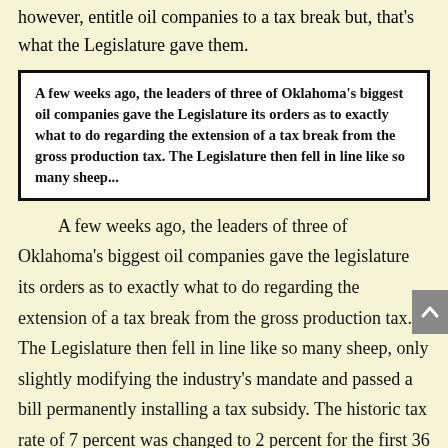however, entitle oil companies to a tax break but, that's what the Legislature gave them.
A few weeks ago, the leaders of three of Oklahoma's biggest oil companies gave the Legislature its orders as to exactly what to do regarding the extension of a tax break from the gross production tax. The Legislature then fell in line like so many sheep...
A few weeks ago, the leaders of three of Oklahoma's biggest oil companies gave the legislature its orders as to exactly what to do regarding the extension of a tax break from the gross production tax. The Legislature then fell in line like so many sheep, only slightly modifying the industry's mandate and passed a bill permanently installing a tax subsidy. The historic tax rate of 7 percent was changed to 2 percent for the first 36 months of production on all wells